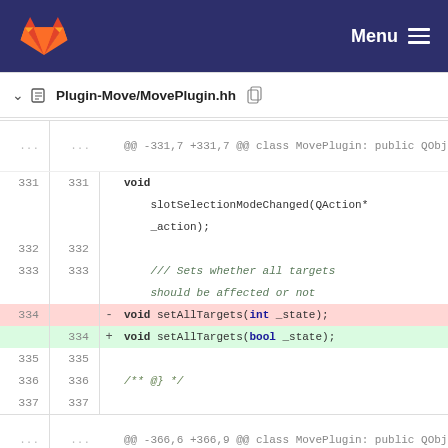GitLab — Menu
Plugin-Move/MovePlugin.hh
@@ -331,7 +331,7 @@ class MovePlugin
: public QObject, BaseInterface,
MouseInterface, KeyInterface,
331  331      void slotSelectionModeChanged(QAction* _action);
332  332 
333  333      /// Sets whether all targets should be affected or not
334       -      void setAllTargets(int _state);
    334  +      void setAllTargets(bool _state);
335  335 
336  336  /** @} */
337  337 
@@ -366,6 +366,9 @@ class MovePlugin
: public QObject, BaseInterface,
MouseInterface, KeyInterface,
366  366      /// Context menu entry